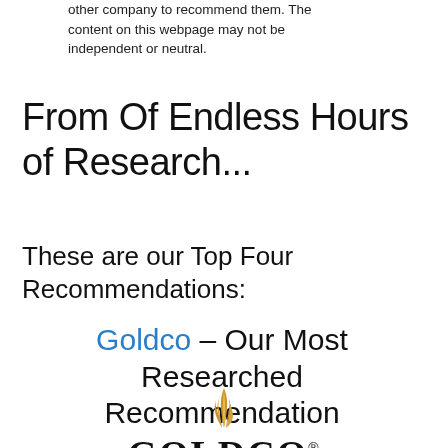other company to recommend them. The content on this webpage may not be independent or neutral.
From Of Endless Hours of Research...
These are our Top Four Recommendations:
Goldco – Our Most Researched Recommendation
[Figure (logo): Goldco logo with stylized golden flame above the word GOLDCO in bold serif font with registered trademark symbol]